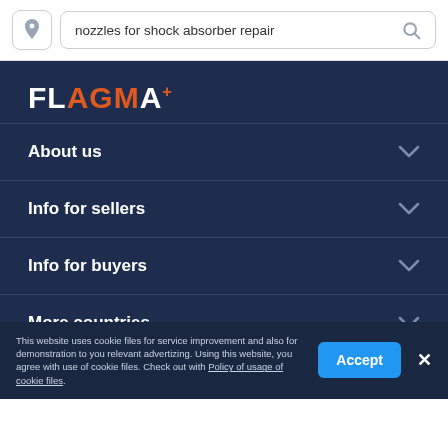nozzles for shock absorber repair
[Figure (screenshot): FLAGMA website navigation menu on dark navy background with About us, Info for sellers, Info for buyers, More countries expandable items]
About us
Info for sellers
Info for buyers
More countries
This website uses cookie files for service improvement and also for demonstration to you relevant advertizing. Using this website, you agree with use of cookie files. Check out with Policy of usage of cookie files.
Accept